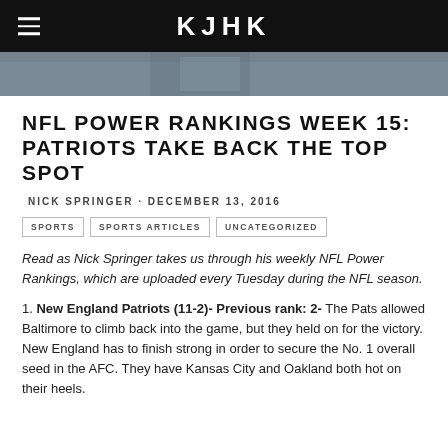KJHK
[Figure (photo): Hero image strip showing football player jersey]
NFL POWER RANKINGS WEEK 15: PATRIOTS TAKE BACK THE TOP SPOT
NICK SPRINGER · DECEMBER 13, 2016
SPORTS  SPORTS ARTICLES  UNCATEGORIZED
Read as Nick Springer takes us through his weekly NFL Power Rankings, which are uploaded every Tuesday during the NFL season.
1. New England Patriots (11-2)- Previous rank: 2- The Pats allowed Baltimore to climb back into the game, but they held on for the victory. New England has to finish strong in order to secure the No. 1 overall seed in the AFC. They have Kansas City and Oakland both hot on their heels.